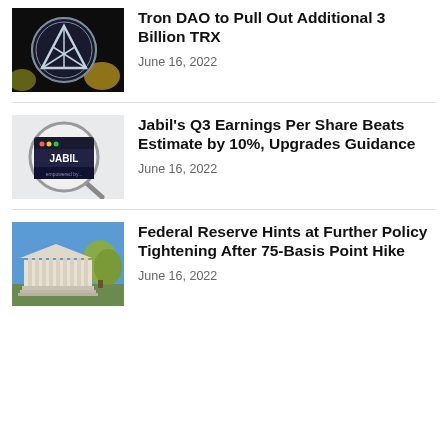[Figure (photo): Close-up photograph of a Tron (TRX) cryptocurrency coin among other coins against a dark background]
Tron DAO to Pull Out Additional 3 Billion TRX
June 16, 2022
[Figure (photo): Photograph of a magnifying glass over a Jabil logo on a screen with dark background]
Jabil's Q3 Earnings Per Share Beats Estimate by 10%, Upgrades Guidance
June 16, 2022
[Figure (photo): Photograph of the Federal Reserve building exterior with trees and blue sky]
Federal Reserve Hints at Further Policy Tightening After 75-Basis Point Hike
June 16, 2022